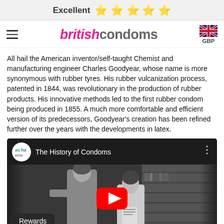Excellent ⭐⭐⭐⭐⭐
[Figure (logo): British Condoms website navigation bar with hamburger menu, britishcondoms logo in pink/grey, and UK flag with GBP currency selector]
All hail the American inventor/self-taught Chemist and manufacturing engineer Charles Goodyear, whose name is more synonymous with rubber tyres. His rubber vulcanization process, patented in 1844, was revolutionary in the production of rubber products. His innovative methods led to the first rubber condom being produced in 1855. A much more comfortable and efficient version of its predecessors, Goodyear's creation has been refined further over the years with the developments in latex.
[Figure (screenshot): YouTube video embed showing 'The History of Condoms' by ASHA, with a black and white thumbnail of two people in what appears to be a pharmacy or library, with a red YouTube play button overlay]